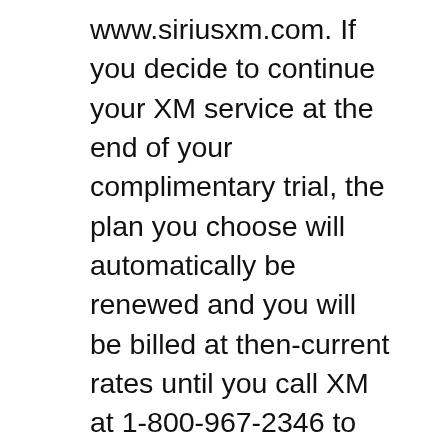www.siriusxm.com. If you decide to continue your XM service at the end of your complimentary trial, the plan you choose will automatically be renewed and you will be billed at then-current rates until you call XM at 1-800-967-2346 to cancel.
The 2013 Honda Accord Coupe is a car for a driver, not operator...welcome back, Honda! DRIVING DOWN THE ROAD WITH CAREY Russ 2013 Honda Accord Coupe V6 EX-L with Navi Honda's got its mojo back! Used 2013 Honda Accord 2 door coupe EX-L for Sale on carmax.com. Search new and used cars, research vehicle models, and compare cars, all online at carmax.com